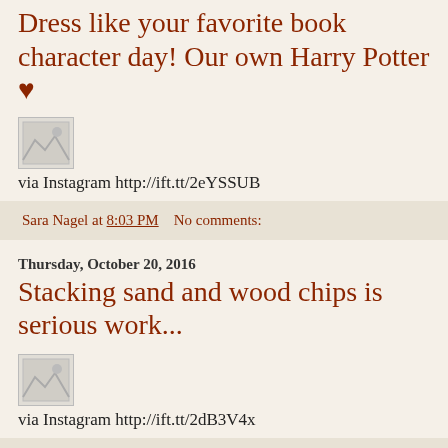Dress like your favorite book character day! Our own Harry Potter ♥
[Figure (photo): Broken/placeholder image thumbnail]
via Instagram http://ift.tt/2eYSSUB
Sara Nagel at 8:03 PM    No comments:
Thursday, October 20, 2016
Stacking sand and wood chips is serious work...
[Figure (photo): Broken/placeholder image thumbnail]
via Instagram http://ift.tt/2dB3V4x
Sara Nagel at 3:43 AM    No comments: